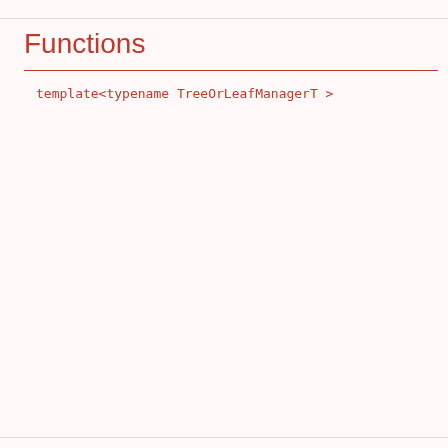Functions
template<typename TreeOrLeafManagerT >